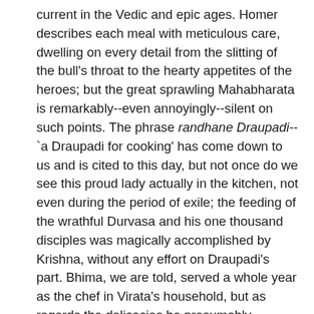current in the Vedic and epic ages. Homer describes each meal with meticulous care, dwelling on every detail from the slitting of the bull's throat to the hearty appetites of the heroes; but the great sprawling Mahabharata is remarkably--even annoyingly--silent on such points. The phrase randhane Draupadi--`a Draupadi for cooking' has come down to us and is cited to this day, but not once do we see this proud lady actually in the kitchen, not even during the period of exile; the feeding of the wrathful Durvasa and his one thousand disciples was magically accomplished by Krishna, without any effort on Draupadi's part. Bhima, we are told, served a whole year as the chef in Virata's household, but as regards the delicacies he presumably concocted for the royal table, we are left completely in the dark. The Ramayana does a little better; we often see Rama and Lakshmana bringing home sackfuls of slain beasts (wild boars, iguanas, three or four varieties of